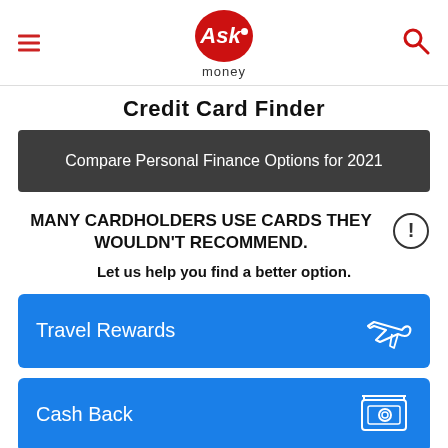Ask money — Credit Card Finder (header navigation)
Credit Card Finder
Compare Personal Finance Options for 2021
MANY CARDHOLDERS USE CARDS THEY WOULDN'T RECOMMEND.
Let us help you find a better option.
Travel Rewards
Cash Back